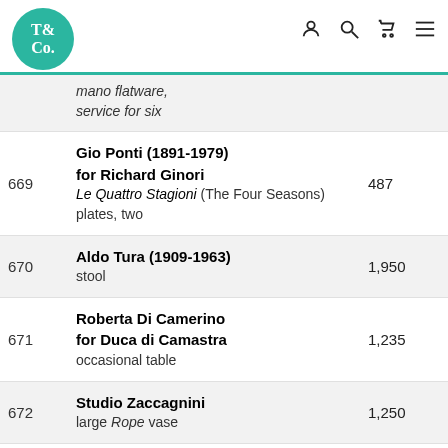T&Co
| Lot | Description | Price |
| --- | --- | --- |
|  | ...mano flatware, service for six |  |
| 669 | Gio Ponti (1891-1979) for Richard Ginori
Le Quattro Stagioni (The Four Seasons) plates, two | 487 |
| 670 | Aldo Tura (1909-1963)
stool | 1,950 |
| 671 | Roberta Di Camerino for Duca di Camastra
occasional table | 1,235 |
| 672 | Studio Zaccagnini
large Rope vase | 1,250 |